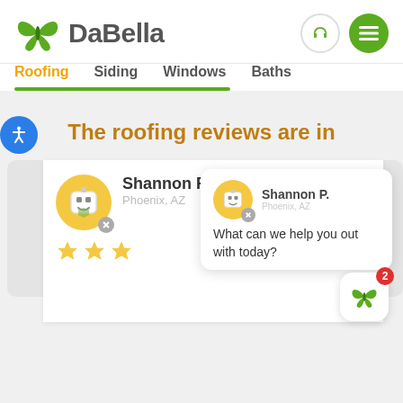[Figure (logo): DaBella logo with green butterfly wings and bold gray DaBella text]
Roofing  Siding  Windows  Baths
The roofing reviews are in
Shannon P.
Phoenix, AZ
What can we help you out with today?